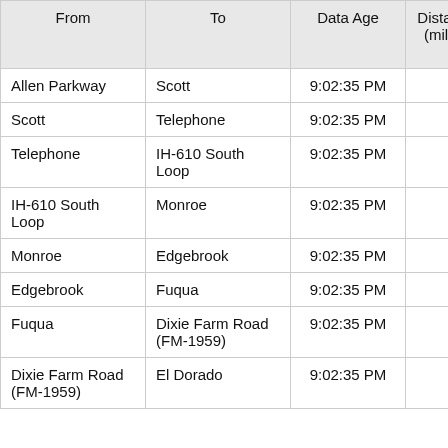| From | To | Data Age | Distance (miles) | Link Travel Time(m:ss) |
| --- | --- | --- | --- | --- |
| Allen Parkway | Scott | 9:02:35 PM | 3.20 | 3:5… |
| Scott | Telephone | 9:02:35 PM | 2.00 | 2:0… |
| Telephone | IH-610 South Loop | 9:02:35 PM | 2.70 | 2:4… |
| IH-610 South Loop | Monroe | 9:02:35 PM | 2.60 | 2:5… |
| Monroe | Edgebrook | 9:02:35 PM | 1.90 | 1:5… |
| Edgebrook | Fuqua | 9:02:35 PM | 2.40 | 2:1… |
| Fuqua | Dixie Farm Road (FM-1959) | 9:02:35 PM | 2.10 | 2:0… |
| Dixie Farm Road (FM-1959) | El Dorado | 9:02:35 PM | 3.50 | 3:1… |